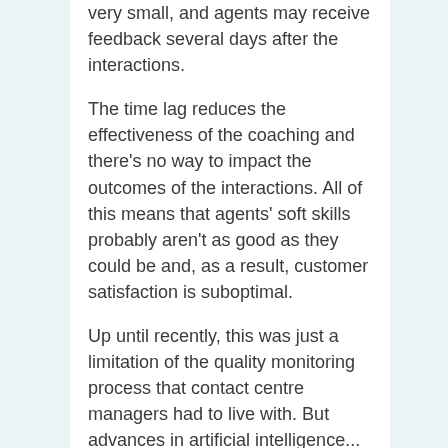very small, and agents may receive feedback several days after the interactions.
The time lag reduces the effectiveness of the coaching and there's no way to impact the outcomes of the interactions. All of this means that agents' soft skills probably aren't as good as they could be and, as a result, customer satisfaction is suboptimal.
Up until recently, this was just a limitation of the quality monitoring process that contact centre managers had to live with. But advances in artificial intelligence...